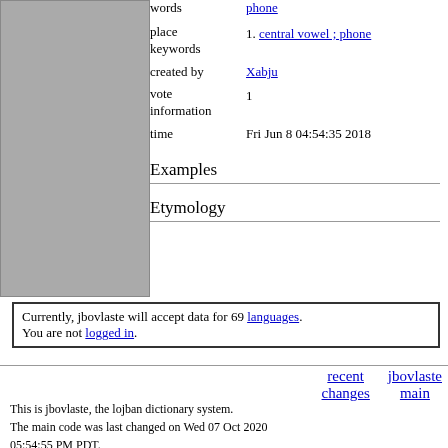[Figure (other): Gray rectangle placeholder image]
| words | phone |
| place keywords | 1. central vowel ; phone |
| created by | Xabju |
| vote information | 1 |
| time | Fri Jun 8 04:54:35 2018 |
Examples
Etymology
Currently, jbovlaste will accept data for 69 languages. You are not logged in.
recent changes   jbovlaste main
This is jbovlaste, the lojban dictionary system.
The main code was last changed on Wed 07 Oct 2020
05:54:55 PM PDT.